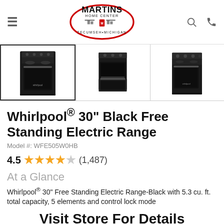Martins Home Center - Tecumseh Michigan
[Figure (photo): Three thumbnail images of Whirlpool black electric range from different angles]
Whirlpool® 30" Black Free Standing Electric Range
Model #: WFE505W0HB
4.5 stars (1,487) reviews
At a Glance
Whirlpool® 30" Free Standing Electric Range-Black with 5.3 cu. ft. total capacity, 5 elements and control lock mode
Visit Store For Details